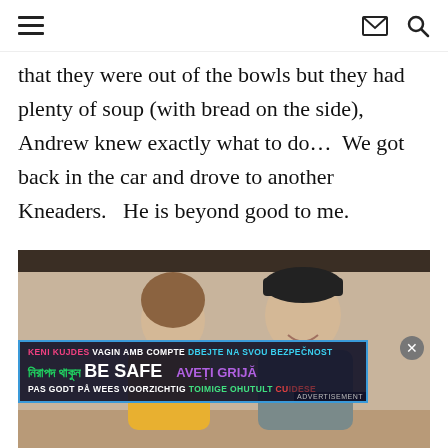navigation header with hamburger menu, envelope icon, and search icon
that they were out of the bowls but they had plenty of soup (with bread on the side), Andrew knew exactly what to do…  We got back in the car and drove to another Kneaders.   He is beyond good to me.
[Figure (photo): A couple sitting at a restaurant table, woman in yellow on the left, man in grey shirt and black cap on the right, with a multilingual 'BE SAFE' advertisement overlay on the image.]